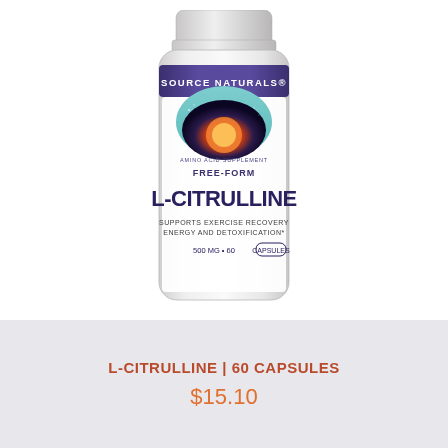[Figure (photo): A white plastic supplement bottle labeled 'Source Naturals' with a dark purple band at top. The label shows a cosmic/space graphic with 'FREE-FORM L-CITRULLINE' in large dark text, 'AMINO ACID SUPPLEMENT' in small text, 'SUPPORTS EXERCISE RECOVERY ENERGY AND DETOXIFICATION*' and '500 MG • 60 CAPSULES' at the bottom.]
L-CITRULLINE | 60 CAPSULES
$15.10